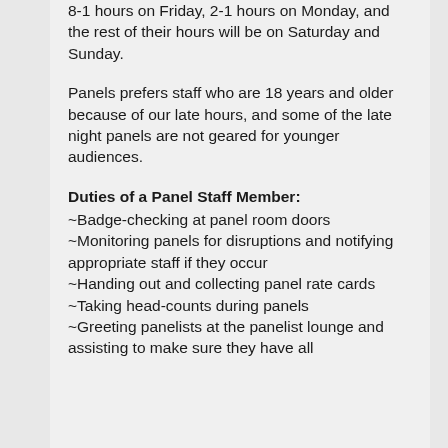8-1 hours on Friday, 2-1 hours on Monday, and the rest of their hours will be on Saturday and Sunday.
Panels prefers staff who are 18 years and older because of our late hours, and some of the late night panels are not geared for younger audiences.
Duties of a Panel Staff Member:
~Badge-checking at panel room doors
~Monitoring panels for disruptions and notifying appropriate staff if they occur
~Handing out and collecting panel rate cards
~Taking head-counts during panels
~Greeting panelists at the panelist lounge and assisting to make sure they have all